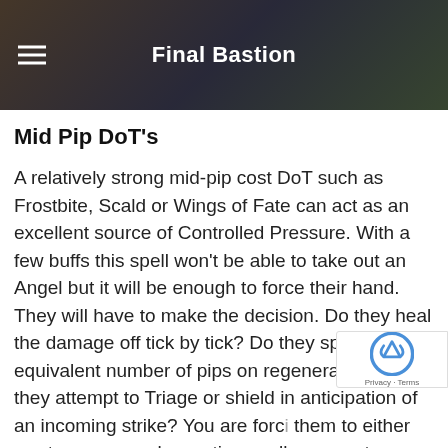Final Bastion
Mid Pip DoT’s
A relatively strong mid-pip cost DoT such as Frostbite, Scald or Wings of Fate can act as an excellent source of Controlled Pressure. With a few buffs this spell won’t be able to take out an Angel but it will be enough to force their hand. They will have to make the decision. Do they heal the damage off tick by tick? Do they spend an equivalent number of pips on regenerate? Or do they attempt to Triage or shield in anticipation of an incoming strike? You are forcing them to either waste resources by casting spells that may not necessarily be useful or to waste resources